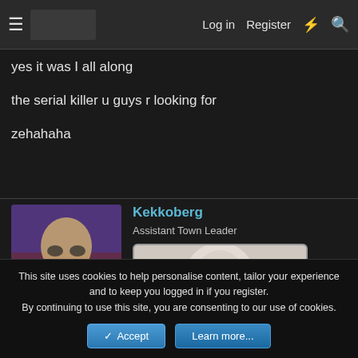Log in  Register
yes it was I all along
the serial killer u guys r looking for
zehahaha
[Figure (illustration): Anime-style character avatar with glasses and dark hair, wearing a grey coat. Background has purple and red tones with dashed lines.]
Kekkoberg
Assistant Town Leader
[Figure (illustration): Illustrated portrait of a pale-haired anime girl with red lips holding a cup, watermarked image.]
This site uses cookies to help personalise content, tailor your experience and to keep you logged in if you register.
By continuing to use this site, you are consenting to our use of cookies.